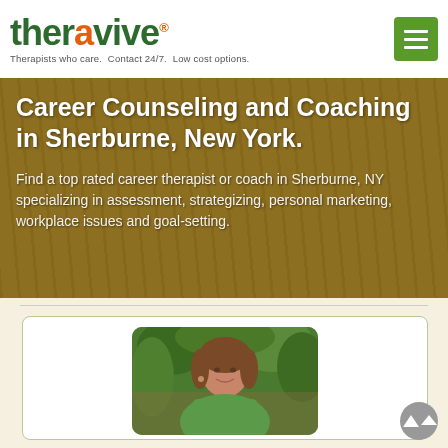theravive® — Therapists who care. Contact 24/7. Low cost options.
Career Counseling and Coaching in Sherburne, New York.
Find a top rated career therapist or coach in Sherburne, NY specializing in assessment, strategizing, personal marketing, workplace issues and goal-setting.
[Figure (photo): Portrait photo of a smiling woman with shoulder-length brown hair, wearing a green top, outdoors with green foliage background.]